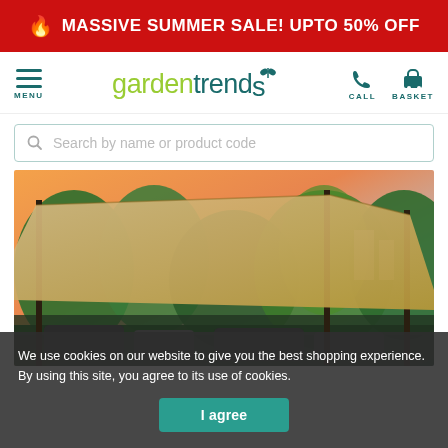🔥 MASSIVE SUMMER SALE! UPTO 50% OFF
[Figure (logo): Garden Trends logo with plant icon, teal and green-yellow color scheme]
Search by name or product code
[Figure (photo): Outdoor garden gazebo/pergola with beige canopy, lush green garden background, sunset sky, rattan furniture below]
We use cookies on our website to give you the best shopping experience. By using this site, you agree to its use of cookies.
I agree